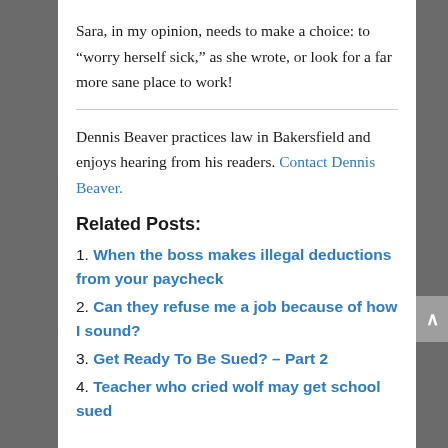Sara, in my opinion, needs to make a choice: to “worry herself sick,” as she wrote, or look for a far more sane place to work!
Dennis Beaver practices law in Bakersfield and enjoys hearing from his readers. Contact Dennis Beaver.
Related Posts:
1. When the boss makes illegal deductions from your paycheck
2. Can they refuse me a job because of how I sound?
3. Get Ready To Be Sued? – Part 2
4. Teacher who cried wolf may get school sued